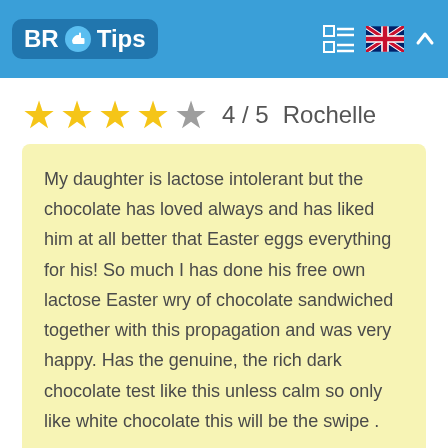BR Tips
4 / 5  Rochelle
My daughter is lactose intolerant but the chocolate has loved always and has liked him at all better that Easter eggs everything for his! So much I has done his free own lactose Easter wry of chocolate sandwiched together with this propagation and was very happy. Has the genuine, the rich dark chocolate test like this unless calm so only like white chocolate this will be the swipe .